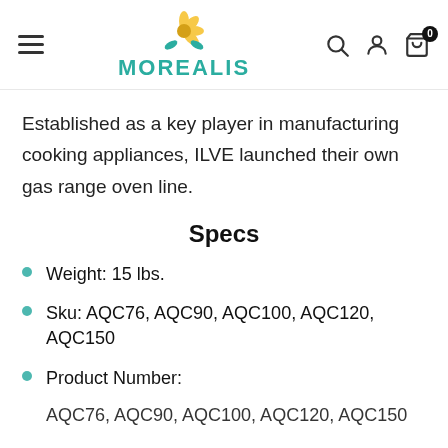MOREALIS
Established as a key player in manufacturing cooking appliances, ILVE launched their own gas range oven line.
Specs
Weight: 15 lbs.
Sku: AQC76, AQC90, AQC100, AQC120, AQC150
Product Number:
AQC76, AQC90, AQC100, AQC120, AQC150